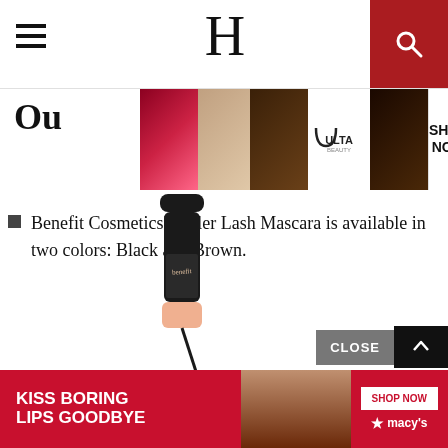H (logo with hamburger menu and search icon)
[Figure (photo): Ulta Beauty advertisement banner showing makeup images (lips, brush, eyes, smoky eye) with ULTA logo and SHOP NOW text]
Ou...
Benefit Cosmetics' Roller Lash Mascara is available in two colors: Black and Brown.
[Figure (photo): Benefit Cosmetics Roller Lash mascara product photo showing black mascara tube with wand]
[Figure (screenshot): Video player overlay with dark background, circular loading spinner, and close X button]
[Figure (photo): Macy's advertisement banner: KISS BORING LIPS GOODBYE with SHOP NOW button and star logo, red background with woman's face]
CLOSE